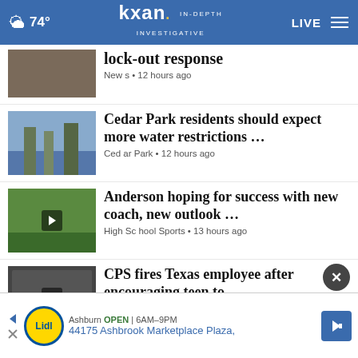74° kxan IN-DEPTH INVESTIGATIVE LIVE
lock-out response
News • 12 hours ago
Cedar Park residents should expect more water restrictions …
Cedar Park • 12 hours ago
Anderson hoping for success with new coach, new outlook …
High School Sports • 13 hours ago
CPS fires Texas employee after encouraging teen to …
Texas • 28 mins ago
Austin City Limits Music Festival drops daily lineup …
ACL • 2 hours ago
City of Austin provides update on
[Figure (screenshot): Lidl advertisement: Ashburn OPEN 6AM-9PM, 44175 Ashbrook Marketplace Plaza.]